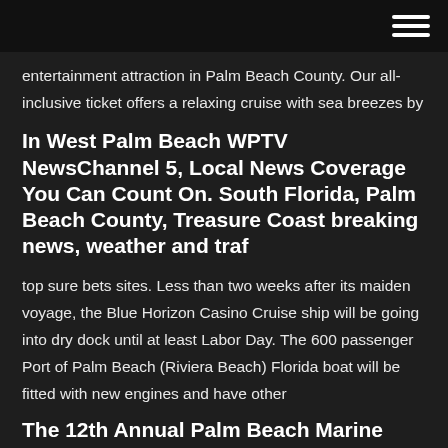entertainment attraction in Palm Beach County. Our all-inclusive ticket offers a relaxing cruise with sea breezes by
In West Palm Beach WPTV NewsChannel 5, Local News Coverage You Can Count On. South Florida, Palm Beach County, Treasure Coast breaking news, weather and traf
top sure bets sites. Less than two weeks after its maiden voyage, the Blue Horizon Casino Cruise ship will be going into dry dock until at least Labor Day. The 600 passenger Port of Palm Beach (Riviera Beach) Florida boat will be fitted with new engines and have other
The 12th Annual Palm Beach Marine Flea